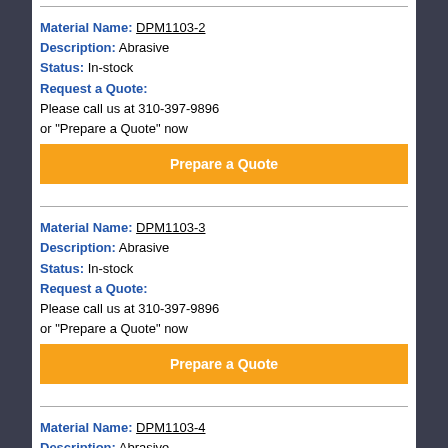Material Name: DPM1103-2
Description: Abrasive
Status: In-stock
Request a Quote:
Please call us at 310-397-9896
or "Prepare a Quote" now
Prepare a Quote
Material Name: DPM1103-3
Description: Abrasive
Status: In-stock
Request a Quote:
Please call us at 310-397-9896
or "Prepare a Quote" now
Prepare a Quote
Material Name: DPM1103-4
Description: Abrasive